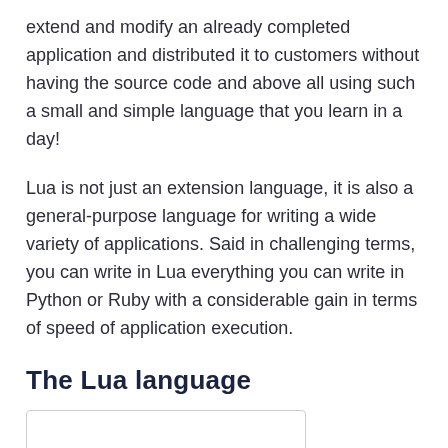extend and modify an already completed application and distributed it to customers without having the source code and above all using such a small and simple language that you learn in a day!
Lua is not just an extension language, it is also a general-purpose language for writing a wide variety of applications. Said in challenging terms, you can write in Lua everything you can write in Python or Ruby with a considerable gain in terms of speed of application execution.
The Lua language
[Figure (screenshot): Empty white code box with a light gray border, partially visible at the bottom of the page.]